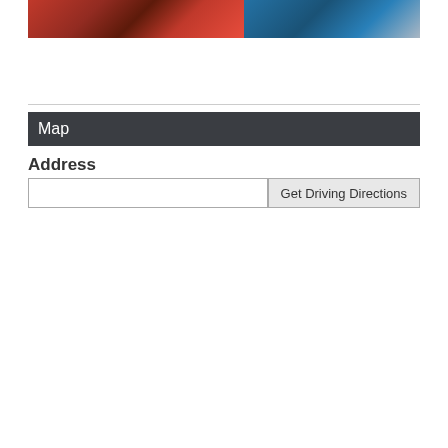[Figure (photo): Industrial machinery photo — left side shows red metal equipment with bolts; right side shows a person in blue clothing/uniform]
Map
Address
Get Driving Directions